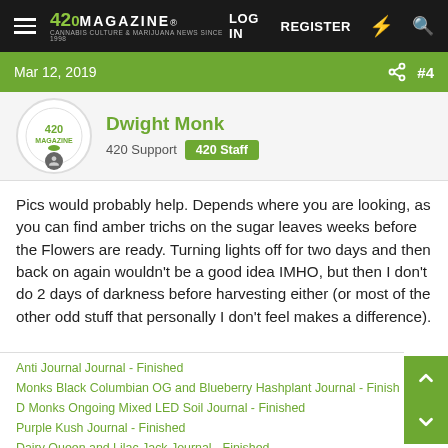420 Magazine — LOG IN  REGISTER
Mar 12, 2019  #4
Dwight Monk
420 Support  420 Staff
Pics would probably help. Depends where you are looking, as you can find amber trichs on the sugar leaves weeks before the Flowers are ready. Turning lights off for two days and then back on again wouldn't be a good idea IMHO, but then I don't do 2 days of darkness before harvesting either (or most of the other odd stuff that personally I don't feel makes a difference).
Anti Journal Journal - Finished
Monks Black Columbian OG and Blueberry Hashplant Journal - Finished
D Monks Ongoing Mixed LED Soil Journal - Finished
Purple Kush Journal - Finished
Dairy Queen and Lilac Jack Journal - Finished
Dwight's plant and bud pic thread